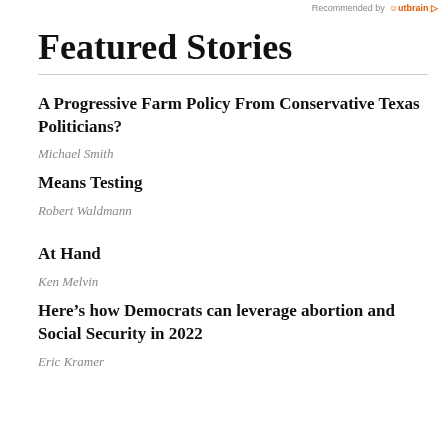Recommended by Outbrain
Featured Stories
A Progressive Farm Policy From Conservative Texas Politicians?
Michael Smith
Means Testing
Robert Waldmann
At Hand
Ken Melvin
Here’s how Democrats can leverage abortion and Social Security in 2022
Eric Kramer